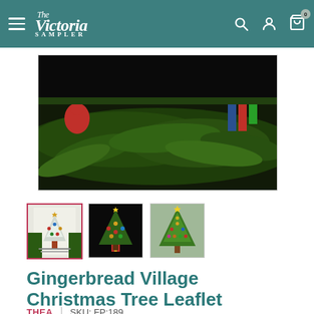The Victoria Sampler — navigation header with hamburger menu, search, account, and cart icons
[Figure (photo): Close-up product photo showing evergreen/cedar branches with holiday decorations on dark background]
[Figure (photo): Thumbnail 1 (active/selected): Product leaflet cover showing a white Christmas tree with ornaments]
[Figure (photo): Thumbnail 2: Close-up of embroidered/beaded Christmas tree ornament on dark background]
[Figure (photo): Thumbnail 3: Embroidered Christmas tree with colorful ornaments on light green/grey background]
Gingerbread Village Christmas Tree Leaflet
THEA  |  SKU: FP:189